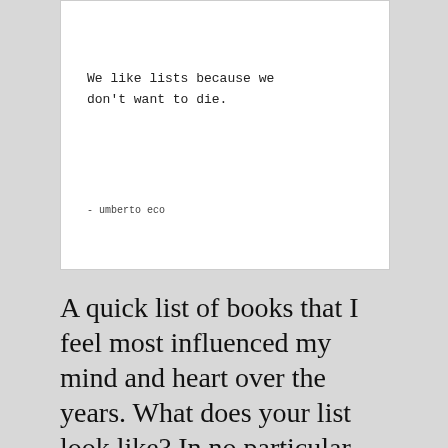We like lists because we don't want to die.

- umberto eco
A quick list of books that I feel most influenced my mind and heart over the years. What does your list look like? In no particular order.